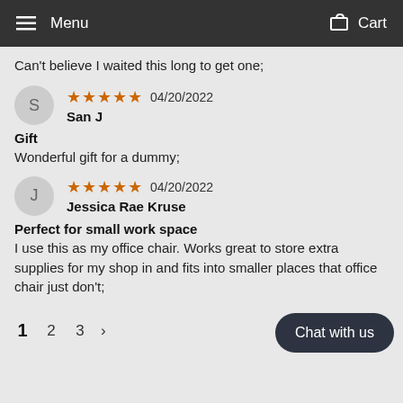Menu  Cart
Can't believe I waited this long to get one;
S  ★★★★★ 04/20/2022  San J
Gift
Wonderful gift for a dummy;
J  ★★★★★ 04/20/2022  Jessica Rae Kruse
Perfect for small work space
I use this as my office chair. Works great to store extra supplies for my shop in and fits into smaller places that office chair just don't;
1  2  3  >  Chat with us